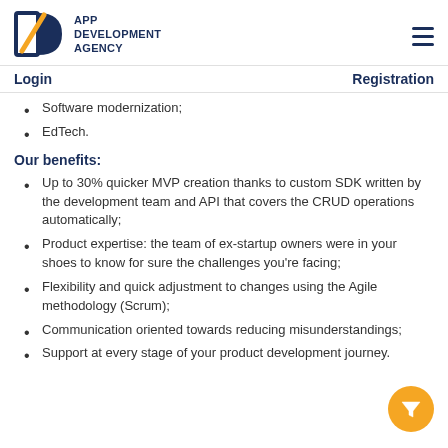APP DEVELOPMENT AGENCY
Login | Registration
Software modernization;
EdTech.
Our benefits:
Up to 30% quicker MVP creation thanks to custom SDK written by the development team and API that covers the CRUD operations automatically;
Product expertise: the team of ex-startup owners were in your shoes to know for sure the challenges you're facing;
Flexibility and quick adjustment to changes using the Agile methodology (Scrum);
Communication oriented towards reducing misunderstandings;
Support at every stage of your product development journey.